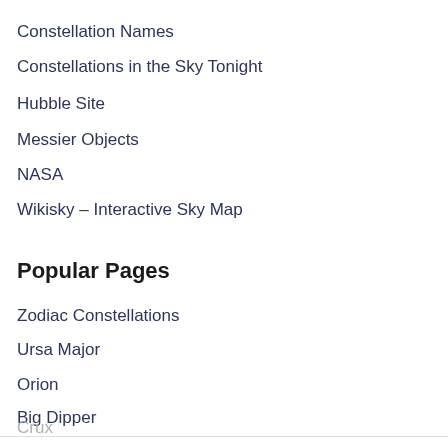Constellation Names
Constellations in the Sky Tonight
Hubble Site
Messier Objects
NASA
Wikisky – Interactive Sky Map
Popular Pages
Zodiac Constellations
Ursa Major
Orion
Big Dipper
Crux